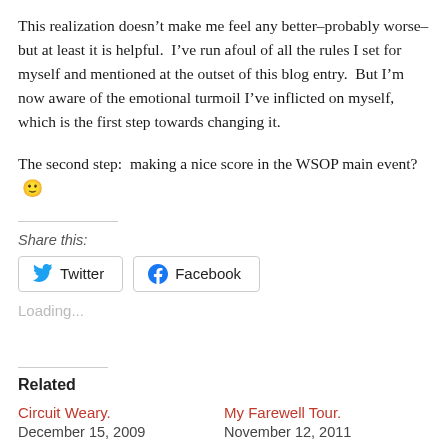This realization doesn't make me feel any better–probably worse–but at least it is helpful.  I've run afoul of all the rules I set for myself and mentioned at the outset of this blog entry.  But I'm now aware of the emotional turmoil I've inflicted on myself, which is the first step towards changing it.
The second step:  making a nice score in the WSOP main event?  🙂
Share this:
Twitter  Facebook
Loading...
Related
Circuit Weary.
December 15, 2009
My Farewell Tour.
November 12, 2011